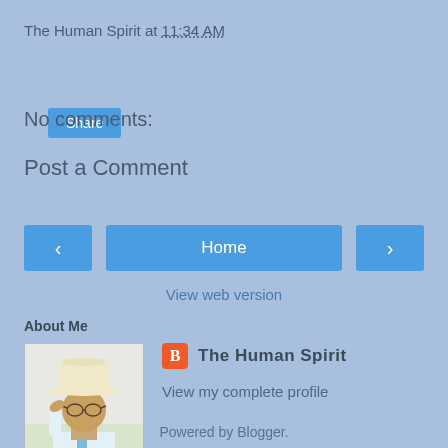The Human Spirit at 11:34 AM
Share
No comments:
Post a Comment
< Home >
View web version
About Me
[Figure (photo): Profile photo of a person wearing a white cowboy hat and light blue tie, with glasses]
The Human Spirit
View my complete profile
Powered by Blogger.